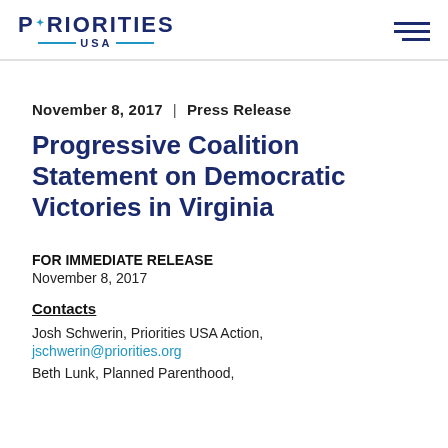PRIORITIES USA [logo with hamburger menu]
November 8, 2017  |  Press Release
Progressive Coalition Statement on Democratic Victories in Virginia
FOR IMMEDIATE RELEASE
November 8, 2017
Contacts
Josh Schwerin, Priorities USA Action,
jschwerin@priorities.org
Beth Lunk, Planned Parenthood,